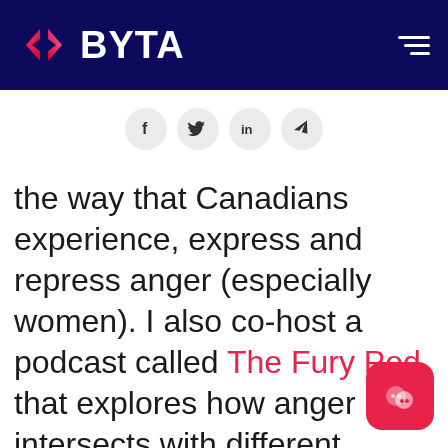BYTA
[Figure (logo): BYTA website header with logo (red diamond chevron icon and BYTA text in white on dark navy background) and hamburger menu icon]
[Figure (infographic): Social sharing icons row: Facebook (f), Twitter (bird), LinkedIn (in), Telegram (paper plane) — each in a light grey circle]
the way that Canadians experience, express and repress anger (especially women). I also co-host a podcast called The Fury Pod that explores how anger intersects with different themes (communication, repression, spirituality, etc.)